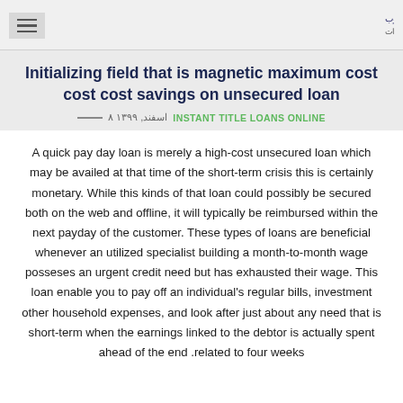[hamburger menu icon] [Persian logo/brand text]
Initializing field that is magnetic maximum cost cost cost savings on unsecured loan
INSTANT TITLE LOANS ONLINE  ۸ اسفند, ۱۳۹۹
A quick pay day loan is merely a high-cost unsecured loan which may be availed at that time of the short-term crisis this is certainly monetary. While this kinds of that loan could possibly be secured both on the web and offline, it will typically be reimbursed within the next payday of the customer. These types of loans are beneficial whenever an utilized specialist building a month-to-month wage posseses an urgent credit need but has exhausted their wage. This loan enable you to pay off an individual's regular bills, investment other household expenses, and look after just about any need that is short-term when the earnings linked to the debtor is actually spent ahead of the end .related to four weeks